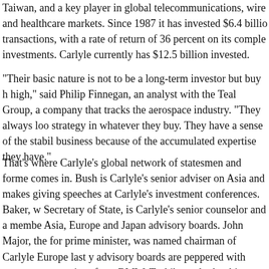Taiwan, and a key player in global telecommunications, wire and healthcare markets. Since 1987 it has invested $6.4 billion transactions, with a rate of return of 36 percent on its completed investments. Carlyle currently has $12.5 billion invested.
"Their basic nature is not to be a long-term investor but buy high," said Philip Finnegan, an analyst with the Teal Group, a company that tracks the aerospace industry. "They always look for strategy in whatever they buy. They have a sense of the stability of business because of the accumulated expertise they have."
That's where Carlyle's global network of statesmen and former comes in. Bush is Carlyle's senior adviser on Asia and makes giving speeches at Carlyle's investment conferences. Baker, w Secretary of State, is Carlyle's senior counselor and a member Asia, Europe and Japan advisory boards. John Major, the former prime minister, was named chairman of Carlyle Europe last y advisory boards are peppered with corporate executives from BMW, Toshiba and other big multinationals, and men of influence former Bundesbank president Karl Otto Pohl, former Thai pr Anand Panyarachun and former US ambassador to Japan (and Speaker of the House) Thomas Foley. Carlyle's new asset ma